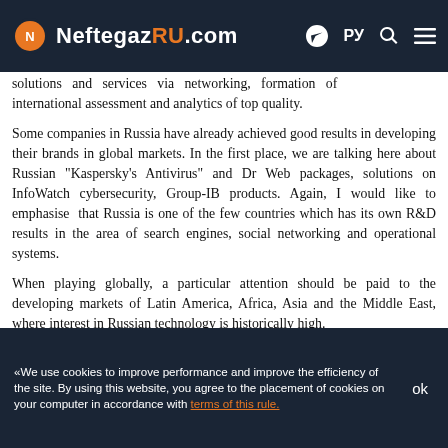NeftegazRU.com
solutions and services via networking, formation of international assessment and analytics of top quality.
Some companies in Russia have already achieved good results in developing their brands in global markets. In the first place, we are talking here about Russian "Kaspersky's Antivirus" and Dr Web packages, solutions on InfoWatch cybersecurity, Group-IB products. Again, I would like to emphasise that Russia is one of the few countries which has its own R&D results in the area of search engines, social networking and operational systems.
When playing globally, a particular attention should be paid to the developing markets of Latin America, Africa, Asia and the Middle East, where interest in Russian technology is historically high.
– When it comes to Russia, which industry is the most
«We use cookies to improve performance and improve the efficiency of the site. By using this website, you agree to the placement of cookies on your computer in accordance with terms of this rule.